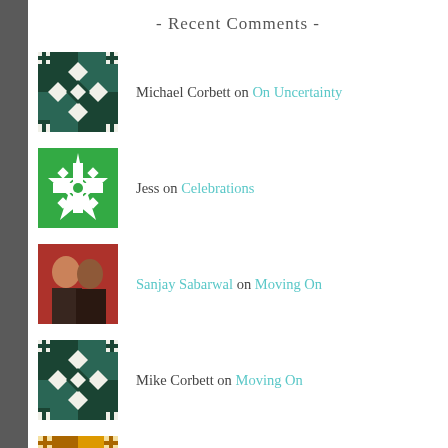- Recent Comments -
Michael Corbett on On Uncertainty
Jess on Celebrations
Sanjay Sabarwal on Moving On
Mike Corbett on Moving On
Bobby Narayan on 13.1, 50, 185, and 345
- Blogroll Links -
Beats From the East